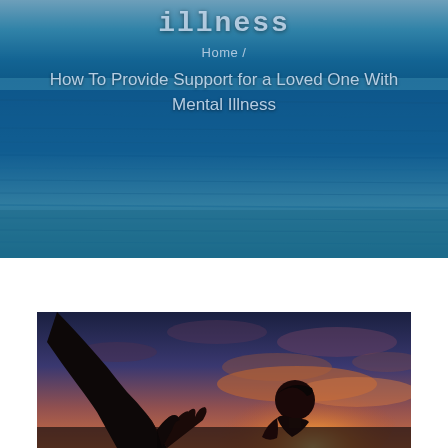[Figure (photo): Ocean/sea background with blue water and horizon, used as hero banner background]
illness
Home /
How To Provide Support for a Loved One With Mental Illness
[Figure (photo): Silhouette of a person reaching out a hand toward another person (child) against a sunset sky with orange and golden light]